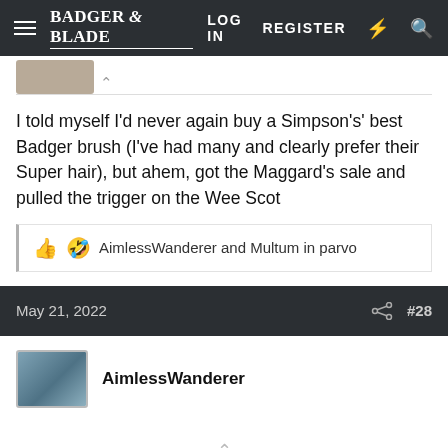Badger & Blade | LOG IN | REGISTER
I told myself I'd never again buy a Simpson's' best Badger brush (I've had many and clearly prefer their Super hair), but ahem, got the Maggard's sale and pulled the trigger on the Wee Scot
AimlessWanderer and Multum in parvo
May 21, 2022 #28
AimlessWanderer